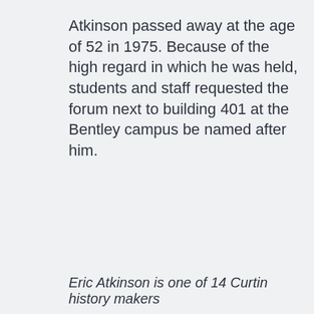Atkinson passed away at the age of 52 in 1975. Because of the high regard in which he was held, students and staff requested the forum next to building 401 at the Bentley campus be named after him.
Eric Atkinson is one of 14 Curtin history makers